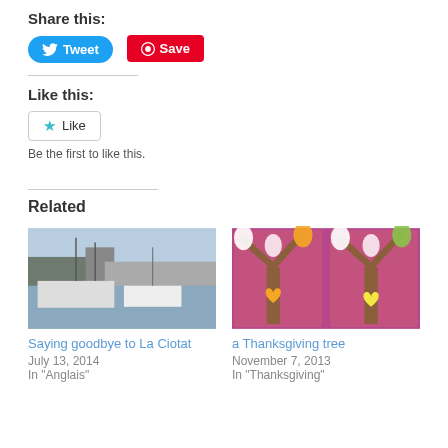Share this:
[Figure (other): Tweet button (blue rounded) and Save button (red) for social sharing]
Like this:
[Figure (other): Like button with star icon]
Be the first to like this.
Related
[Figure (photo): Photo of a marina with sailboats and buildings in the background – La Ciotat]
Saying goodbye to La Ciotat
July 13, 2014
In "Anglais"
[Figure (photo): Artwork photo of colorful Thanksgiving trees made from paper cutouts on purple background]
a Thanksgiving tree
November 7, 2013
In "Thanksgiving"